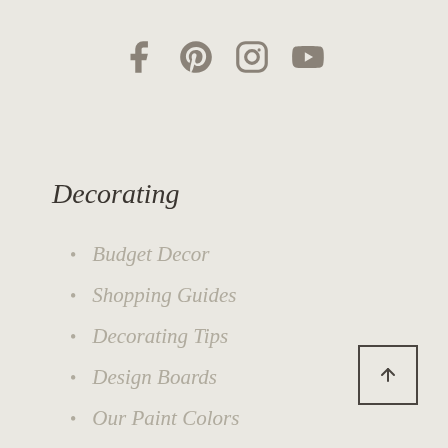[Figure (illustration): Social media icons: Facebook, Pinterest, Instagram, YouTube in muted brown/gray color]
Decorating
Budget Decor
Shopping Guides
Decorating Tips
Design Boards
Our Paint Colors
[Figure (illustration): Back to top arrow button — a square outline with an upward arrow inside]
DIY